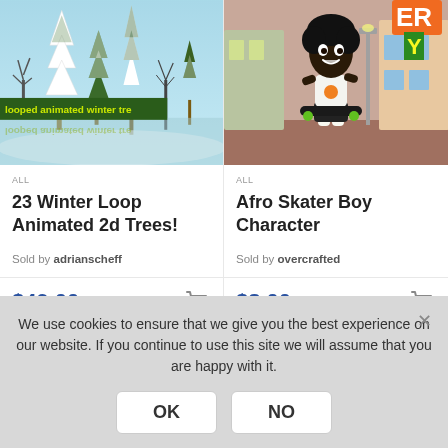[Figure (illustration): Winter loop animated 2D trees product thumbnail — snowy trees on light blue background with green banner text 'looped animated winter tre']
ALL
23 Winter Loop Animated 2d Trees!
Sold by adrianscheff
$49.00
[Figure (illustration): Afro Skater Boy Character product thumbnail — animated cartoon boy holding skateboard on urban street background]
ALL
Afro Skater Boy Character
Sold by overcrafted
$8.00
We use cookies to ensure that we give you the best experience on our website. If you continue to use this site we will assume that you are happy with it.